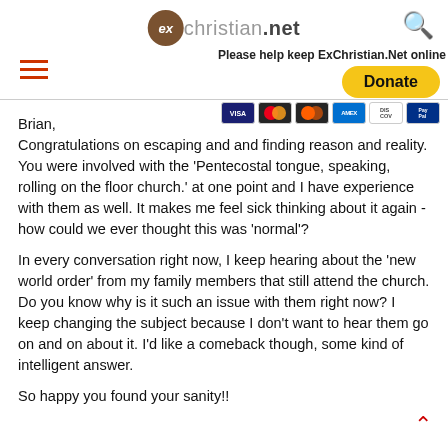exchristian.net — Please help keep ExChristian.Net online — Donate
Brian,
Congratulations on escaping and and finding reason and reality.  You were involved with the 'Pentecostal tongue, speaking, rolling on the floor church.' at one point and I have experience with them as well.  It makes me feel sick thinking about it again - how could we ever thought this was 'normal'?

In every conversation right now, I keep hearing about the 'new world order' from my family members that still attend the church.  Do you know why is it such an issue with them right now?  I keep changing the subject because I don't want to hear them go on and on about it. I'd like a comeback though, some kind of intelligent answer.

So happy you found your sanity!!